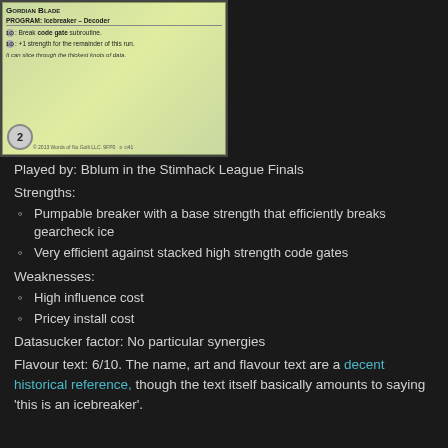[Figure (photo): Card image of 'Gordian Blade', a Program: Icebreaker - Decoder card. Shows card title, abilities, flavour text, and a cost badge of 2.]
Played by: Bblum in the Stimhack League Finals
Strengths:
Pumpable breaker with a base strength that efficiently breaks gearcheck ice
Very efficient against stacked high strength code gates
Weaknesses:
High influence cost
Pricey install cost
Datasucker factor: No particular synergies
Flavour text: 6/10. The name, art and flavour text are a decent historical reference, though the text itself basically amounts to saying 'this is an icebreaker'.